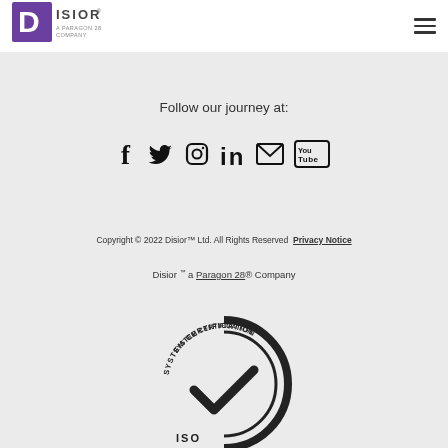[Figure (logo): Disior logo - purple D square with 'DISIOR A PARAGON 28 COMPANY' text]
Follow our journey at:
[Figure (infographic): Social media icons: Facebook, Twitter, Instagram, LinkedIn, Email, YouTube]
Copyright © 2022 Disior™ Ltd. All Rights Reserved Privacy Notice
Disior™ a Paragon 28® Company
[Figure (logo): ISO System Certification badge - circular logo with checkmark, partially visible]